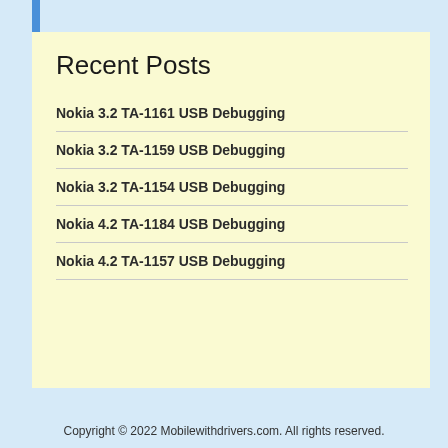Recent Posts
Nokia 3.2 TA-1161 USB Debugging
Nokia 3.2 TA-1159 USB Debugging
Nokia 3.2 TA-1154 USB Debugging
Nokia 4.2 TA-1184 USB Debugging
Nokia 4.2 TA-1157 USB Debugging
Copyright © 2022 Mobilewithdrivers.com. All rights reserved.